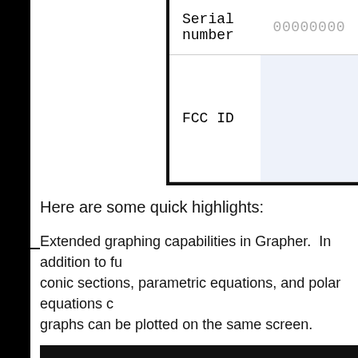| Field | Value |
| --- | --- |
| Serial number | 00000000 |
| FCC ID |  |
Here are some quick highlights:
Extended graphing capabilities in Grapher.  In addition to functions, conic sections, parametric equations, and polar equations can be graphed.  Multiple graphs can be plotted on the same screen.